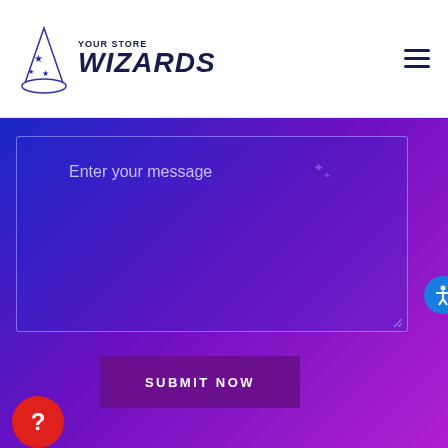[Figure (logo): Your Store Wizards logo with wizard hat icon and text]
[Figure (screenshot): Message input textarea with placeholder text 'Enter your message' on a blue-to-purple gradient background]
SUBMIT NOW
[Figure (infographic): Blue circular accessibility icon button on right edge]
[Figure (infographic): Red circular help/question mark button at bottom left]